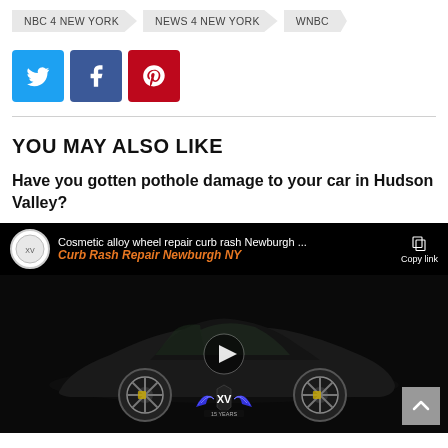NBC 4 NEW YORK | NEWS 4 NEW YORK | WNBC
[Figure (other): Social sharing buttons: Twitter (blue), Facebook (dark blue), Pinterest (red)]
YOU MAY ALSO LIKE
Have you gotten pothole damage to your car in Hudson Valley?
[Figure (screenshot): Video thumbnail showing a black sports car (Lamborghini) on a dark background. Video title reads 'Cosmetic alloy wheel repair curb rash Newburgh ...' with subtitle 'Curb Rash Repair Newburgh NY' in orange italic text. A play button is visible in the center. An XV 15 Years logo is at the bottom center. Copy link icon in top right.]